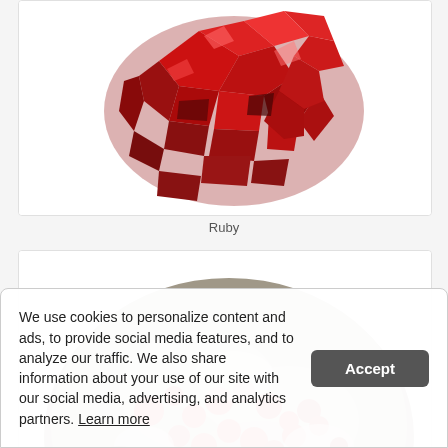[Figure (photo): Close-up photo of a ruby mineral specimen with deep red crystalline clusters against a white background]
Ruby
[Figure (photo): Close-up photo of a rough ruby-bearing rock specimen with red crystals embedded in a gray/white matrix, against a white background]
We use cookies to personalize content and ads, to provide social media features, and to analyze our traffic. We also share information about your use of our site with our social media, advertising, and analytics partners. Learn more